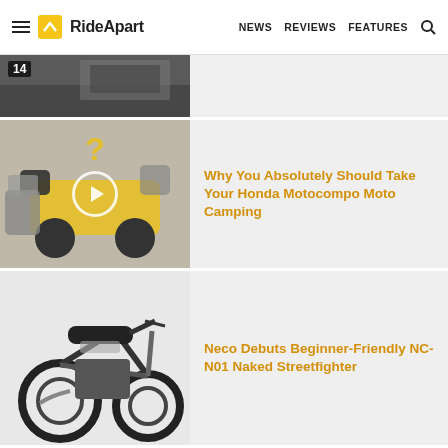RideApart — NEWS  REVIEWS  FEATURES
[Figure (photo): Partial view of motorcycle luggage/gear, numbered 14]
[Figure (photo): Honda Motocompo with camping gear and yellow question mark overlay, video play button]
Why You Absolutely Should Take Your Honda Motocompo Moto Camping
[Figure (photo): Neco NC-N01 naked streetfighter motorcycle, gray and black]
Neco Debuts Beginner-Friendly NC-N01 Naked Streetfighter
Interested in motos?
Post & get featured here!